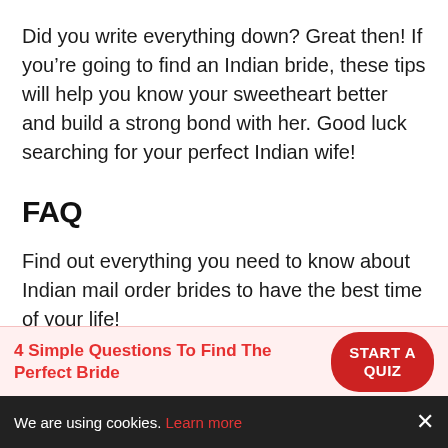Did you write everything down? Great then! If you’re going to find an Indian bride, these tips will help you know your sweetheart better and build a strong bond with her. Good luck searching for your perfect Indian wife!
FAQ
Find out everything you need to know about Indian mail order brides to have the best time of your life!
How much does it cost to date an Indian mail order bride?
4 Simple Questions To Find The Perfect Bride
We are using cookies. Learn more